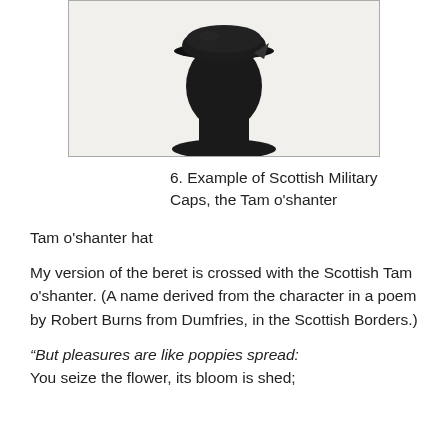[Figure (photo): A black Tam o'shanter hat displayed on a head mannequin stand, photographed against a white background.]
6. Example of Scottish Military Caps, the Tam o'shanter
Tam o'shanter hat
My version of the beret is crossed with the Scottish Tam o'shanter. (A name derived from the character in a poem by Robert Burns from Dumfries, in the Scottish Borders.)
“But pleasures are like poppies spread:
You seize the flower, its bloom is shed;